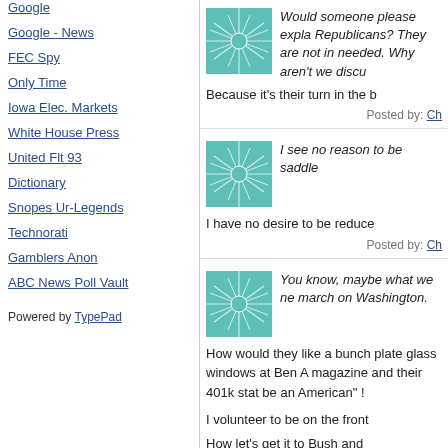Google
Google - News
FEC Spy
Only Time
Iowa Elec. Markets
White House Press
United Flt 93
Dictionary
Snopes Ur-Legends
Technorati
Gamblers Anon
ABC News Poll Vault
Powered by TypePad
Would someone please expla Republicans? They are not in needed. Why aren't we discu
Because it's their turn in the b
Posted by: Ch
I see no reason to be saddle
I have no desire to be reduce
Posted by: Ch
You know, maybe what we ne march on Washington.
How would they like a bunch plate glass windows at Ben A magazine and their 401k stat be an American" !
I volunteer to be on the front
How let's get it to Bush and